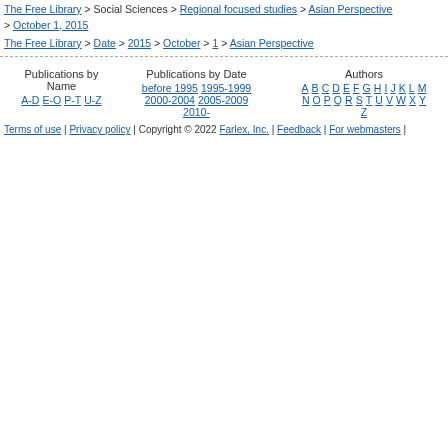The Free Library > Social Sciences > Regional focused studies > Asian Perspective > October 1, 2015
The Free Library > Date > 2015 > October > 1 > Asian Perspective
| Publications by Name | Publications by Date | Authors | Literature |
| --- | --- | --- | --- |
| A-D E-O P-T U-Z | before 1995 1995-1999 2000-2004 2005-2009 2010- | A B C D E F G H I J K L M N O P Q R S T U V W X Y Z | A B C D E F G H I J K L M N O P Q R S T U V W X Y Z |
Terms of use | Privacy policy | Copyright © 2022 Farlex, Inc. | Feedback | For webmasters |